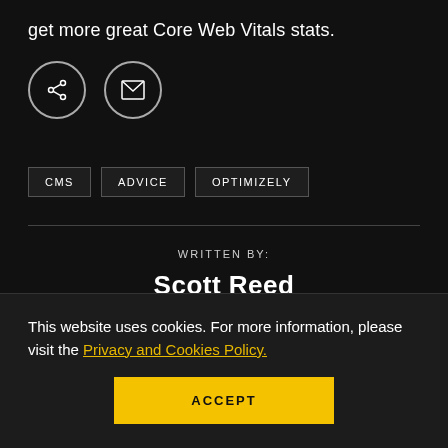get more great Core Web Vitals stats.
[Figure (illustration): Two circular icon buttons: a share icon and an envelope/email icon, both with thin grey circular borders on dark background]
CMS
ADVICE
OPTIMIZELY
WRITTEN BY:
Scott Reed
This website uses cookies. For more information, please visit the Privacy and Cookies Policy.
ACCEPT